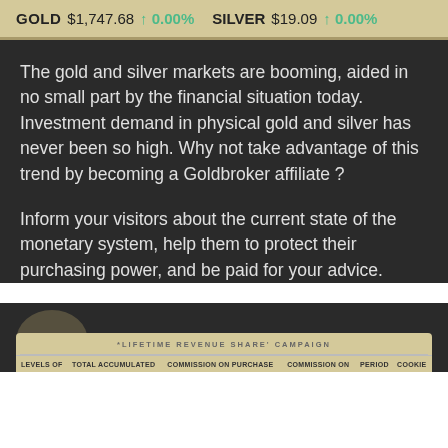GOLD $1,747.68 ↑ 0.00%   SILVER $19.09 ↑ 0.00%
The gold and silver markets are booming, aided in no small part by the financial situation today. Investment demand in physical gold and silver has never been so high. Why not take advantage of this trend by becoming a Goldbroker affiliate ?
Inform your visitors about the current state of the monetary system, help them to protect their purchasing power, and be paid for your advice.
| LEVELS OF | TOTAL ACCUMULATED | COMMISSION ON PURCHASE | COMMISSION ON | PERIOD | COOKIE |
| --- | --- | --- | --- | --- | --- |